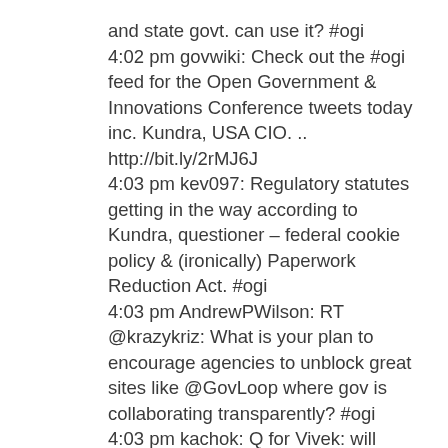and state govt. can use it? #ogi
4:02 pm govwiki: Check out the #ogi feed for the Open Government & Innovations Conference tweets today inc. Kundra, USA CIO. .. http://bit.ly/2rMJ6J
4:03 pm kev097: Regulatory statutes getting in the way according to Kundra, questioner – federal cookie policy & (ironically) Paperwork Reduction Act. #ogi
4:03 pm AndrewPWilson: RT @krazykriz: What is your plan to encourage agencies to unblock great sites like @GovLoop where gov is collaborating transparently? #ogi
4:03 pm kachok: Q for Vivek: will Feds build open source tools for ARRA reporting for state/local governments to use? #ogi
4:03 pm debbieweil: Vivek Kundra: We haven't (yet) tapped into some of the smartest minds inside the fed gov't. #ogi